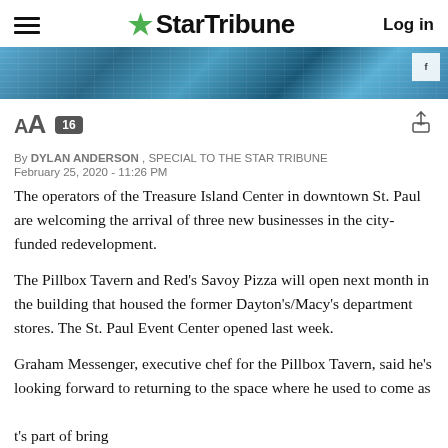StarTribune — Log in
[Figure (photo): Banner photo of blue glass building exterior]
A A  16
By DYLAN ANDERSON , SPECIAL TO THE STAR TRIBUNE
February 25, 2020 - 11:26 PM
The operators of the Treasure Island Center in downtown St. Paul are welcoming the arrival of three new businesses in the city-funded redevelopment.
The Pillbox Tavern and Red's Savoy Pizza will open next month in the building that housed the former Dayton's/Macy's department stores. The St. Paul Event Center opened last week.
Graham Messenger, executive chef for the Pillbox Tavern, said he's looking forward to returning to the space where he used to come as t's part of bring sed to